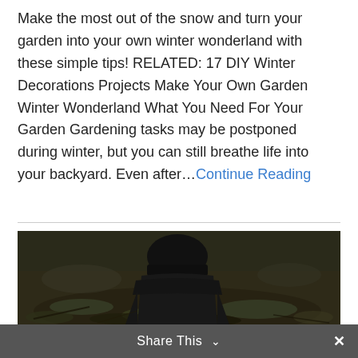Make the most out of the snow and turn your garden into your own winter wonderland with these simple tips! RELATED: 17 DIY Winter Decorations Projects Make Your Own Garden Winter Wonderland What You Need For Your Garden Gardening tasks may be postponed during winter, but you can still breathe life into your backyard. Even after… Continue Reading
[Figure (photo): A person wearing a dark hat and jacket seen from behind, crouching over mossy ground or garden area]
Share This ∨  ×